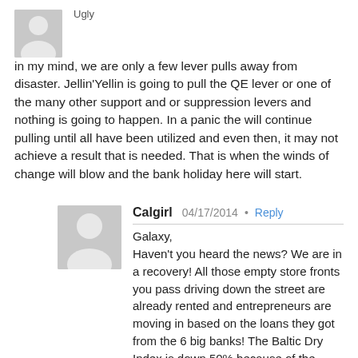Ugly
in my mind, we are only a few lever pulls away from disaster. Jellin'Yellin is going to pull the QE lever or one of the many other support and or suppression levers and nothing is going to happen. In a panic the will continue pulling until all have been utilized and even then, it may not achieve a result that is needed. That is when the winds of change will blow and the bank holiday here will start.
Calgirl  04/17/2014 • Reply
Galaxy,
Haven't you heard the news? We are in a recovery! All those empty store fronts you pass driving down the street are already rented and entrepreneurs are moving in based on the loans they got from the 6 big banks! The Baltic Dry Index is down 50% because of the weather, don't you know. And the employment rate is 6%.